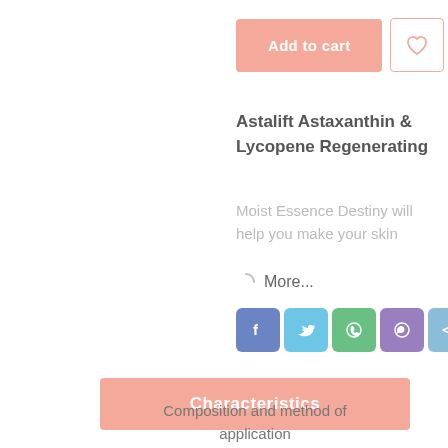[Figure (screenshot): Add to cart button (salmon/pink color) and wishlist heart icon button]
Astalift Astaxanthin & Lycopene Regenerating
Moist Essence Destiny will help you make your skin
More...
[Figure (infographic): Social share icons: Facebook, Twitter, WhatsApp, Viber, Telegram]
Characteristics
Composition and method of application